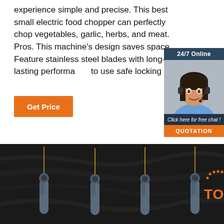experience simple and precise. This best small electric food chopper can perfectly chop vegetables, garlic, herbs, and meat. Pros. This machine's design saves space. Feature stainless steel blades with long-lasting performance to use safe locking lid
[Figure (other): 24/7 Online customer service widget with a woman wearing a headset, 'Click here for free chat!' text, and an orange QUOTATION button]
Get Price
[Figure (photo): Dark background product photo showing multiple needle/probe tools with gray ergonomic handles arranged side by side, with a 'TOP' logo in orange on the right side]